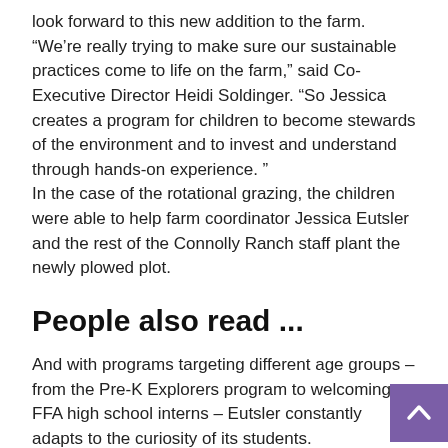look forward to this new addition to the farm.
“We’re really trying to make sure our sustainable practices come to life on the farm,” said Co-Executive Director Heidi Soldinger. “So Jessica creates a program for children to become stewards of the environment and to invest and understand through hands-on experience. ”
In the case of the rotational grazing, the children were able to help farm coordinator Jessica Eutsler and the rest of the Connolly Ranch staff plant the newly plowed plot.
People also read ...
And with programs targeting different age groups – from the Pre-K Explorers program to welcoming FFA high school interns – Eutsler constantly adapts to the curiosity of its students.
“We did the younger age, so preschool, and they were excited,” she said. “It’s a bit more everywhere, but it’s still fun because they still understand what’s going on.”
“From there, we can talk about something as basic as ‘What